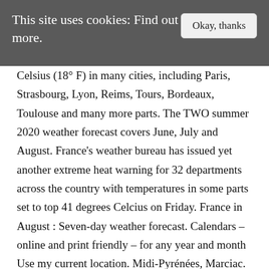This site uses cookies: Find out more.
Okay, thanks
Celsius (18° F) in many cities, including Paris, Strasbourg, Lyon, Reims, Tours, Bordeaux, Toulouse and many more parts. The TWO summer 2020 weather forecast covers June, July and August. France’s weather bureau has issued yet another extreme heat warning for 32 departments across the country with temperatures in some parts set to top 41 degrees Celcius on Friday. France in August : Seven-day weather forecast. Calendars – online and print friendly – for any year and month Use my current location. Midi-Pyrénées, Marciac. Daily newsletterReceive essential international news